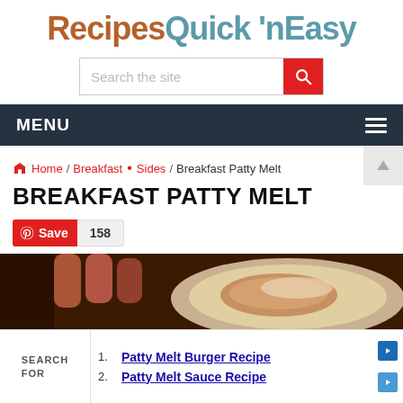RecipesQuick 'nEasy
[Figure (screenshot): Search box with red search button]
[Figure (screenshot): Dark navy navigation bar with MENU text and hamburger icon]
Home / Breakfast • Sides / Breakfast Patty Melt
BREAKFAST PATTY MELT
[Figure (screenshot): Pinterest Save button with count 158]
[Figure (photo): Food photo of breakfast patty melt dish, hands visible in background]
[Figure (screenshot): Ad bar at bottom with SEARCH FOR label, links: 1. Patty Melt Burger Recipe, 2. Patty Melt Sauce Recipe]